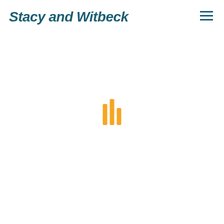[Figure (logo): Stacy and Witbeck company logo in dark teal bold italic text]
[Figure (other): Hamburger menu icon (three horizontal dark teal lines) in top right corner]
[Figure (other): Loading indicator with three vertical orange bars of varying heights centered on the page]